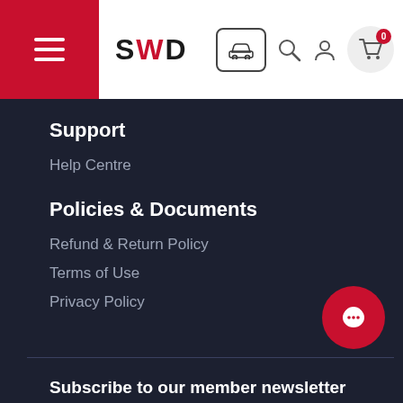SWD navigation header with hamburger menu, logo, car icon, search, account, and cart icons
Support
Help Centre
Policies & Documents
Refund & Return Policy
Terms of Use
Privacy Policy
Subscribe to our member newsletter